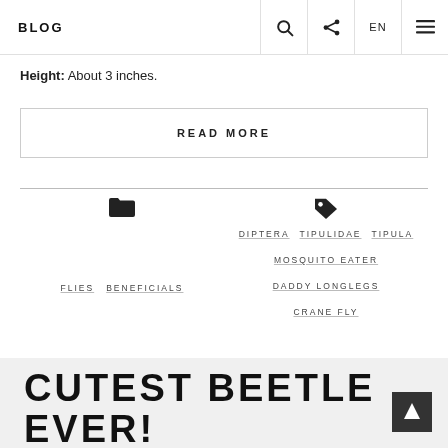BLOG
Height: About 3 inches.
READ MORE
FLIES   BENEFICIALS
DIPTERA   TIPULIDAE   TIPULA   MOSQUITO EATER   DADDY LONGLEGS   CRANE FLY
CUTEST BEETLE EVER! THE TORTOISE BEETLE